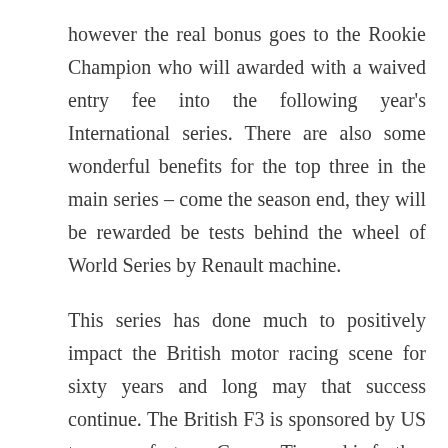however the real bonus goes to the Rookie Champion who will awarded with a waived entry fee into the following year's International series. There are also some wonderful benefits for the top three in the main series – come the season end, they will be rewarded be tests behind the wheel of World Series by Renault machine.
This series has done much to positively impact the British motor racing scene for sixty years and long may that success continue. The British F3 is sponsored by US tyre manufacturer Cooper Tire and is further supported by Sunoco Racing Fuels, Anglo American Oil Company and Mirror.co.uk – more projects for 2011 and beyond will be revealed in coming months.